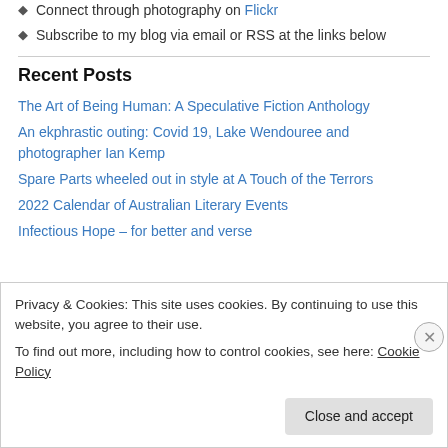Connect through photography on Flickr
Subscribe to my blog via email or RSS at the links below
Recent Posts
The Art of Being Human: A Speculative Fiction Anthology
An ekphrastic outing: Covid 19, Lake Wendouree and photographer Ian Kemp
Spare Parts wheeled out in style at A Touch of the Terrors
2022 Calendar of Australian Literary Events
Infectious Hope – for better and verse
Privacy & Cookies: This site uses cookies. By continuing to use this website, you agree to their use. To find out more, including how to control cookies, see here: Cookie Policy
Close and accept